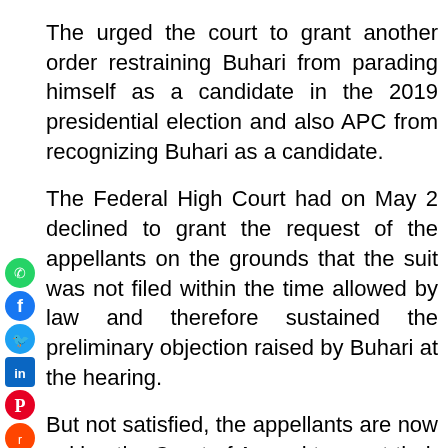The urged the court to grant another order restraining Buhari from parading himself as a candidate in the 2019 presidential election and also APC from recognizing Buhari as a candidate.
[Figure (other): Social media sharing icons on the left side: WhatsApp (green), Facebook (blue), Twitter (blue bird), LinkedIn (blue square), Pinterest (red), Reddit (orange), Email (red envelope), Print (blue printer)]
The Federal High Court had on May 2 declined to grant the request of the appellants on the grounds that the suit was not filed within the time allowed by law and therefore sustained the preliminary objection raised by Buhari at the hearing.
But not satisfied, the appellants are now asking the Court of Appeal to grant their reliefs because they are not challenging the primary election of APC as erroneously held by the lower court.